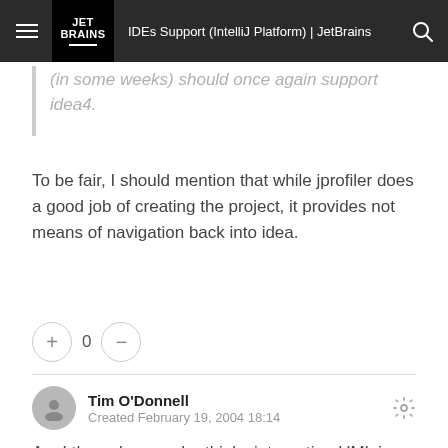IDEs Support (IntelliJ Platform) | JetBrains
(in some weeks) should once again support idea4.
To be fair, I should mention that while jprofiler does a good job of creating the project, it provides not means of navigation back into idea.
+ 0 −
Tim O'Donnell
Created February 19, 2004 18:14
Am I the only one who thinks integrating UML is